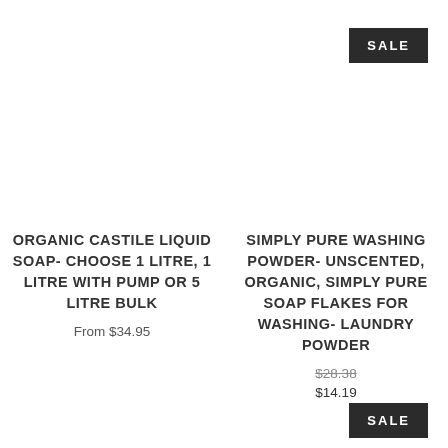SALE
ORGANIC CASTILE LIQUID SOAP- CHOOSE 1 LITRE, 1 LITRE WITH PUMP OR 5 LITRE BULK
From $34.95
SIMPLY PURE WASHING POWDER- UNSCENTED, ORGANIC, SIMPLY PURE SOAP FLAKES FOR WASHING- LAUNDRY POWDER
$28.38
$14.19
SALE